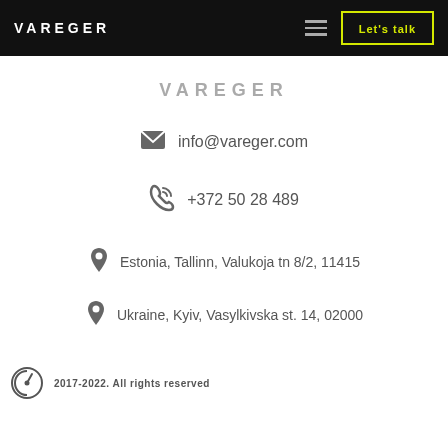VAREGER  ≡  Let's talk
[Figure (logo): VAREGER wordmark logo in gray]
info@vareger.com
+372 50 28 489
Estonia, Tallinn, Valukoja tn 8/2, 11415
Ukraine, Kyiv, Vasylkivska st. 14, 02000
2017-2022. All rights reserved